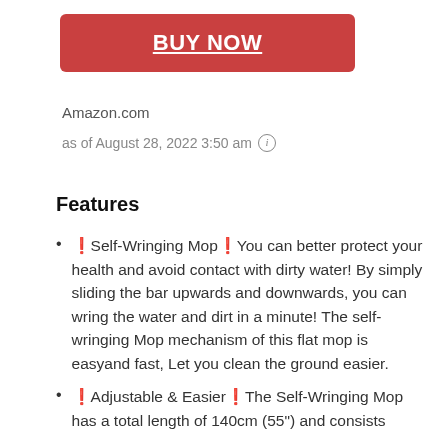[Figure (other): Red button with white underlined bold text 'BUY NOW']
Amazon.com
as of August 28, 2022 3:50 am ⓘ
Features
🔴Self-Wringing Mop🔴You can better protect your health and avoid contact with dirty water! By simply sliding the bar upwards and downwards, you can wring the water and dirt in a minute! The self-wringing Mop mechanism of this flat mop is easyand fast, Let you clean the ground easier.
🔴Adjustable & Easier🔴The Self-Wringing Mop has a total length of 140cm (55") and consists